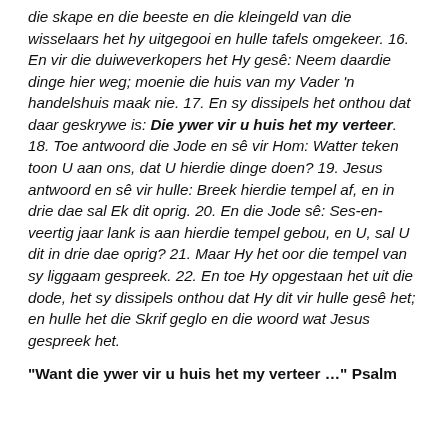die skape en die beeste en die kleingeld van die wisselaars het hy uitgegooi en hulle tafels omgekeer. 16. En vir die duiweverkopers het Hy gesê: Neem daardie dinge hier weg; moenie die huis van my Vader 'n handelshuis maak nie. 17. En sy dissipels het onthou dat daar geskrywe is: Die ywer vir u huis het my verteer. 18. Toe antwoord die Jode en sê vir Hom: Watter teken toon U aan ons, dat U hierdie dinge doen? 19. Jesus antwoord en sê vir hulle: Breek hierdie tempel af, en in drie dae sal Ek dit oprig. 20. En die Jode sê: Ses-en-veertig jaar lank is aan hierdie tempel gebou, en U, sal U dit in drie dae oprig? 21. Maar Hy het oor die tempel van sy liggaam gespreek. 22. En toe Hy opgestaan het uit die dode, het sy dissipels onthou dat Hy dit vir hulle gesê het; en hulle het die Skrif geglo en die woord wat Jesus gespreek het.
"Want die ywer vir u huis het my verteer …" Psalm